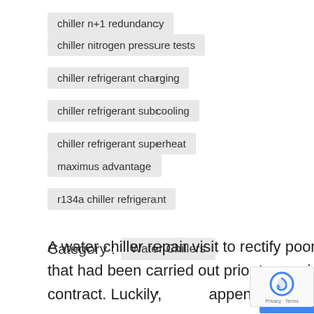chiller n+1 redundancy
chiller nitrogen pressure tests
chiller refrigerant charging
chiller refrigerant subcooling
chiller refrigerant superheat
maximus advantage
r134a chiller refrigerant
Category :  Water Chillers
A water chiller repair visit to rectify poor works that had been carried out prior to us winning contract. Luckily, happen often i